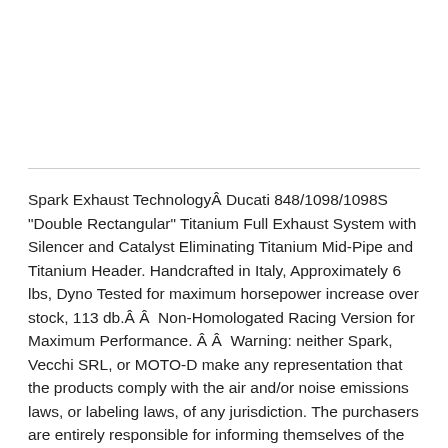Spark Exhaust TechnologyÂ Ducati 848/1098/1098S "Double Rectangular" Titanium Full Exhaust System with Silencer and Catalyst Eliminating Titanium Mid-Pipe and Titanium Header. Handcrafted in Italy, Approximately 6 lbs, Dyno Tested for maximum horsepower increase over stock, 113 db.Â Â  Non-Homologated Racing Version for Maximum Performance. Â Â  Warning: neither Spark, Vecchi SRL, or MOTO-D make any representation that the products comply with the air and/or noise emissions laws, or labeling laws, of any jurisdiction. The purchasers are entirely responsible for informing themselves of the applicable laws where the products are to be used and to comply with those laws. Emissions Warning / USA: Various U.S. states and the U.S. federal government have